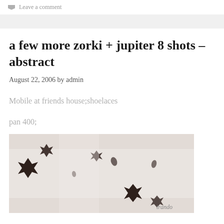Leave a comment
a few more zorki + jupiter 8 shots – abstract
August 22, 2006 by admin
Mobile at friends house;shoelaces
pan 400;
[Figure (photo): Abstract black and white photograph showing dark star-shaped spots against a light background, shot with a Zorki camera and Jupiter 8 lens on Pan 400 film]